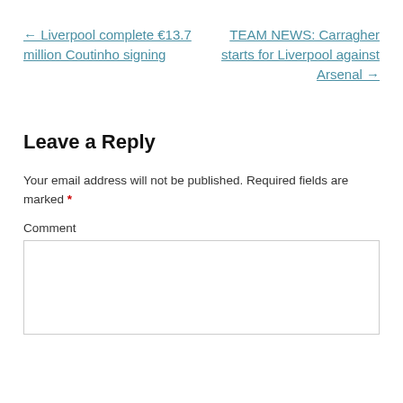← Liverpool complete €13.7 million Coutinho signing
TEAM NEWS: Carragher starts for Liverpool against Arsenal →
Leave a Reply
Your email address will not be published. Required fields are marked *
Comment